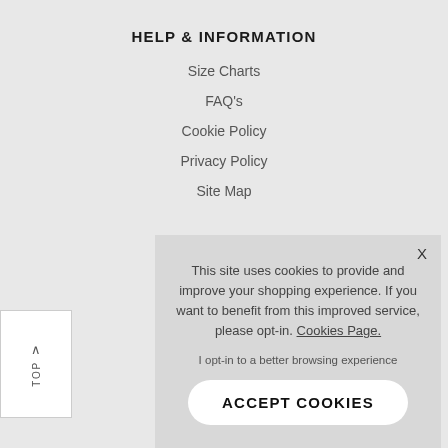HELP & INFORMATION
Size Charts
FAQ's
Cookie Policy
Privacy Policy
Site Map
This site uses cookies to provide and improve your shopping experience. If you want to benefit from this improved service, please opt-in. Cookies Page.
I opt-in to a better browsing experience
ACCEPT COOKIES
TOP
Wishlist